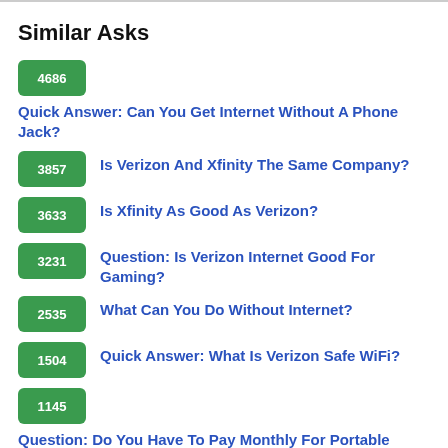Similar Asks
4686  Quick Answer: Can You Get Internet Without A Phone Jack?
3857  Is Verizon And Xfinity The Same Company?
3633  Is Xfinity As Good As Verizon?
3231  Question: Is Verizon Internet Good For Gaming?
2535  What Can You Do Without Internet?
1504  Quick Answer: What Is Verizon Safe WiFi?
1145  Question: Do You Have To Pay Monthly For Portable WiFi?
492  Does FIOS Charge For Router?
432  What Does FIOS Internet 50/50 Mean?